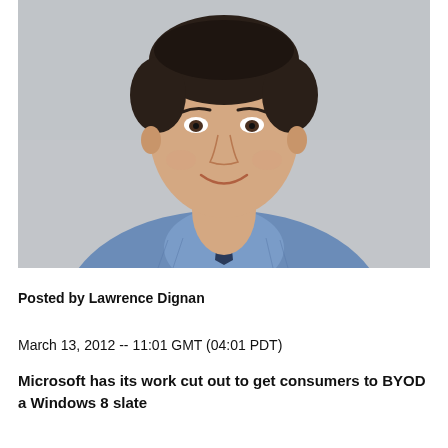[Figure (photo): Headshot of Lawrence Dignan, a man in a blue button-up shirt with dark hair, smiling, against a light grey background.]
Posted by Lawrence Dignan
March 13, 2012 -- 11:01 GMT (04:01 PDT)
Microsoft has its work cut out to get consumers to BYOD a Windows 8 slate